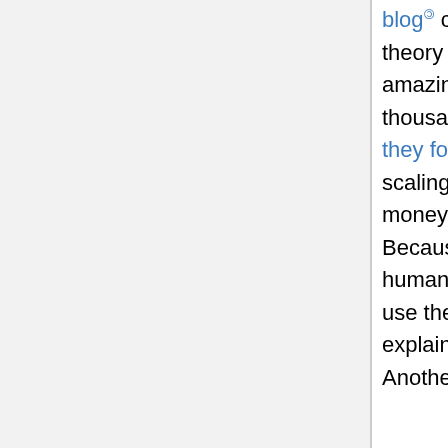blog claim that scientists have developed a mathematical theory that describes the observed movements of travelers amazingly well over distances from just a few kilometers to a few thousand. By analysing the data from the bill-tracking website, they found that money follows what are known as universal scaling laws (from local to regional to long-distance scales). Like money, viruses are transported by people from place to place. Because the mechanisms of transmission of diseases from human to human are already well understood, the scientists can use these novel data sources to develop better models to better explain the global spread of a disease, during an epidemic. Another of the authors (Hufnagel) explained